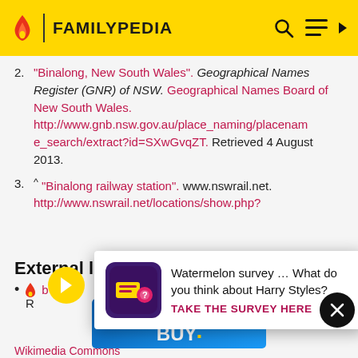FAMILYPEDIA
2. "Binalong, New South Wales". Geographical Names Register (GNR) of NSW. Geographical Names Board of New South Wales. http://www.gnb.nsw.gov.au/place_naming/placename_search/extract?id=SXwGvqZT. Retrieved 4 August 2013.
3. ^ "Binalong railway station". www.nswrail.net. http://www.nswrail.net/locations/show.php?
[Figure (infographic): Survey popup advertisement: Watermelon survey asking 'What do you think about Harry Styles?' with a TAKE THE SURVEY HERE call to action, overlaying the page content. Includes a navigation arrow button and close (X) button.]
External links
[Figure (infographic): Best Buy advertisement banner with blue gradient background and Best Buy logo in white text with yellow tag symbol.]